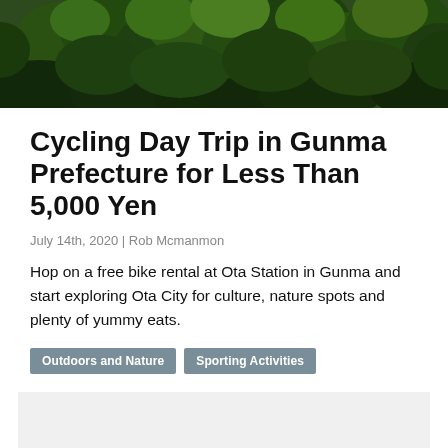[Figure (photo): Dense green forest/tree canopy viewed from below or at an angle, dark green foliage filling the frame.]
Cycling Day Trip in Gunma Prefecture for Less Than 5,000 Yen
July 14th, 2020 | Rob Mcmanmon
Hop on a free bike rental at Ota Station in Gunma and start exploring Ota City for culture, nature spots and plenty of yummy eats.
Outdoors and Nature
Sporting Activities
[Figure (other): Light gray advertisement or placeholder box.]